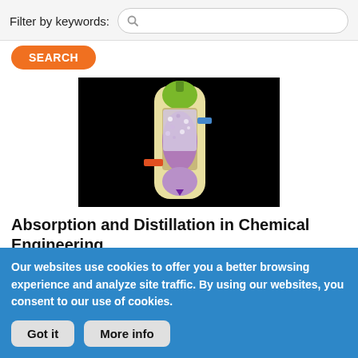Filter by keywords:
[Figure (screenshot): Search bar interface with magnifying glass icon and a rounded rectangle input field]
SEARCH
[Figure (illustration): Video thumbnail showing a cross-section diagram of a chemical absorption/distillation column with green, purple, and beige colors on a black background]
Absorption and Distillation in Chemical Engineering
Academy Video
Our websites use cookies to offer you a better browsing experience and analyze site traffic. By using our websites, you consent to our use of cookies.
Got it
More info